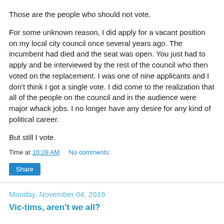Those are the people who should not vote.
For some unknown reason, I did apply for a vacant position on my local city council once several years ago. The incumbent had died and the seat was open. You just had to apply and be interviewed by the rest of the council who then voted on the replacement. I was one of nine applicants and I don't think I got a single vote. I did come to the realization that all of the people on the council and in the audience were major whack jobs. I no longer have any desire for any kind of political career.
But still I vote.
Time at 10:28 AM    No comments:
Share
Monday, November 04, 2019
Vic-tims, aren't we all?